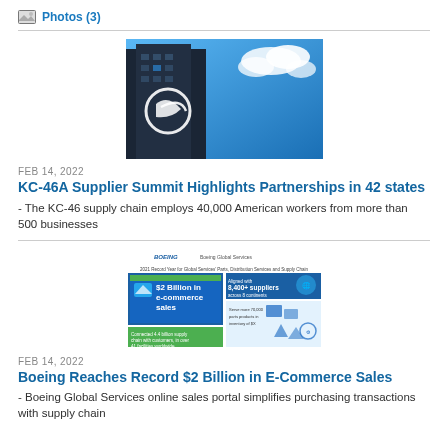Photos (3)
[Figure (photo): Boeing building exterior with Boeing logo against a blue sky with clouds]
FEB 14, 2022
KC-46A Supplier Summit Highlights Partnerships in 42 states
- The KC-46 supply chain employs 40,000 American workers from more than 500 businesses
[Figure (infographic): Boeing infographic showing $2 Billion in e-commerce sales, 8,400+ suppliers across 8 continents, and related supply chain statistics]
FEB 14, 2022
Boeing Reaches Record $2 Billion in E-Commerce Sales
- Boeing Global Services online sales portal simplifies purchasing transactions with supply chain